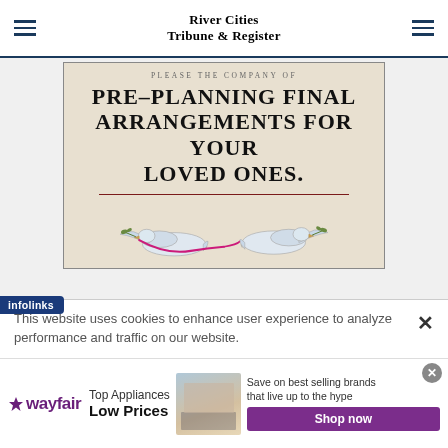River Cities Tribune & Register
[Figure (illustration): Advertisement for pre-planning final arrangements showing text 'PRE-PLANNING FINAL ARRANGEMENTS FOR YOUR LOVED ONES.' with a decorative horizontal rule and two white doves carrying olive branches with a pink ribbon between them, on a cream/beige background with dark border.]
This website uses cookies to enhance user experience to analyze performance and traffic on our website.
[Figure (logo): infolinks badge logo in dark blue]
[Figure (illustration): Wayfair advertisement: wayfair logo with star, text 'Top Appliances Low Prices', image of kitchen range/stove, text 'Save on best selling brands that live up to the hype', purple 'Shop now' button. Close X circle button.]